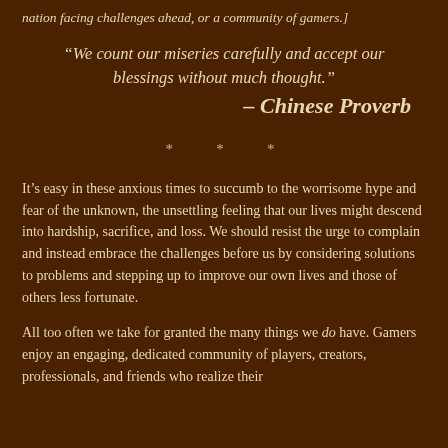nation facing challenges ahead, or a community of gamers.]
“We count our miseries carefully and accept our blessings without much thought.” – Chinese Proverb
* * *
It’s easy in these anxious times to succumb to the worrisome hype and fear of the unknown, the unsettling feeling that our lives might descend into hardship, sacrifice, and loss. We should resist the urge to complain and instead embrace the challenges before us by considering solutions to problems and stepping up to improve our own lives and those of others less fortunate.
All too often we take for granted the many things we do have. Gamers enjoy an engaging, dedicated community of players, creators, professionals, and friends who realize their